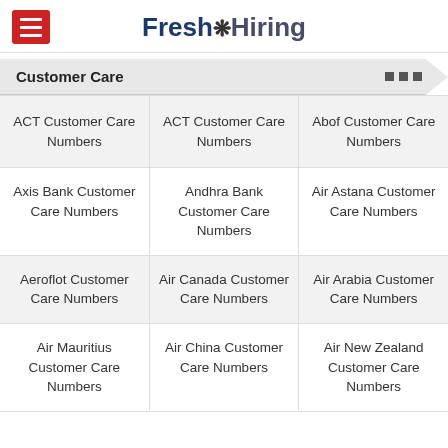Fresh Hiring
Customer Care
ACT Customer Care Numbers | ACT Customer Care Numbers | Abof Customer Care Numbers
Axis Bank Customer Care Numbers | Andhra Bank Customer Care Numbers | Air Astana Customer Care Numbers
Aeroflot Customer Care Numbers | Air Canada Customer Care Numbers | Air Arabia Customer Care Numbers
Air Mauritius Customer Care Numbers | Air China Customer Care Numbers | Air New Zealand Customer Care Numbers